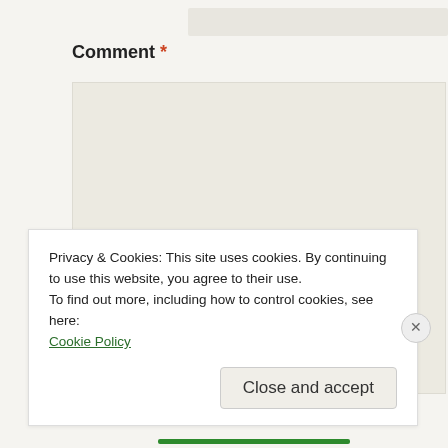Comment *
[Figure (screenshot): Comment textarea input field with light beige background]
Name *
[Figure (screenshot): Name text input field with person icon on left]
Email *
[Figure (screenshot): Email text input field with envelope icon on left]
Privacy & Cookies: This site uses cookies. By continuing to use this website, you agree to their use.
To find out more, including how to control cookies, see here:
Cookie Policy
Close and accept